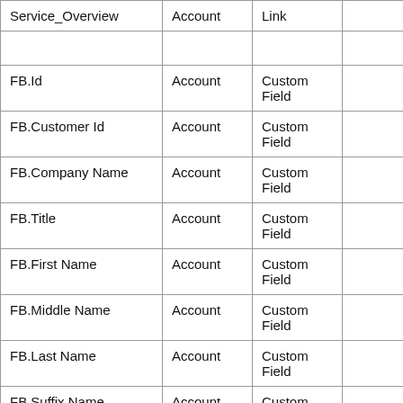|  |  |  |  |
| --- | --- | --- | --- |
| Service_Overview | Account | Link |  |
|  |  |  |  |
| FB.Id | Account | Custom Field |  |
| FB.Customer Id | Account | Custom Field |  |
| FB.Company Name | Account | Custom Field |  |
| FB.Title | Account | Custom Field |  |
| FB.First Name | Account | Custom Field |  |
| FB.Middle Name | Account | Custom Field |  |
| FB.Last Name | Account | Custom Field |  |
| FB.Suffix Name | Account | Custom Field |  |